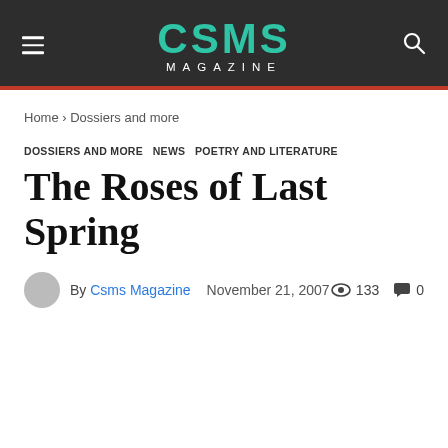CSMS MAGAZINE
Home › Dossiers and more
DOSSIERS AND MORE  NEWS  POETRY AND LITERATURE
The Roses of Last Spring
By Csms Magazine  November 21, 2007  133  0